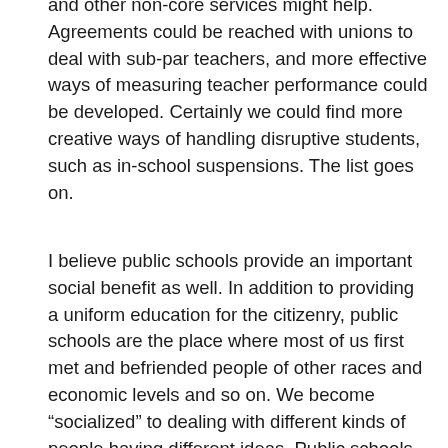and other non-core services might help. Agreements could be reached with unions to deal with sub-par teachers, and more effective ways of measuring teacher performance could be developed. Certainly we could find more creative ways of handling disruptive students, such as in-school suspensions. The list goes on.
I believe public schools provide an important social benefit as well. In addition to providing a uniform education for the citizenry, public schools are the place where most of us first met and befriended people of other races and economic levels and so on. We become “socialized” to dealing with different kinds of people having different ideas. Public schools provide opportunities for sports, arts, music, and